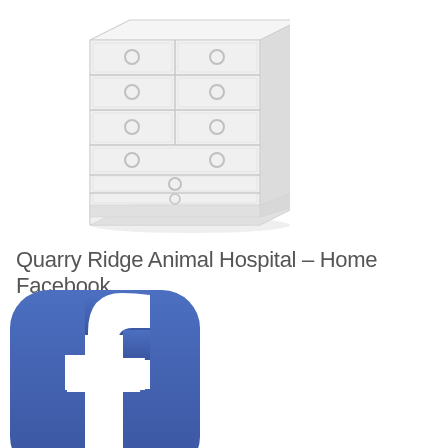[Figure (illustration): A white dresser/chest of drawers with multiple drawers and round knob handles, shown in a light gray/white color scheme against a white background]
Quarry Ridge Animal Hospital – Home Facebook
[Figure (logo): Facebook logo - white lowercase letter 'f' on a blue rounded square background, partially cropped at the bottom]